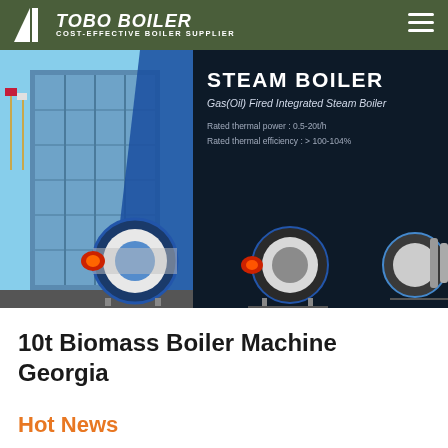TOBO BOILER — COST-EFFECTIVE BOILER SUPPLIER
[Figure (screenshot): Steam Boiler product banner showing Gas(Oil) Fired Integrated Steam Boiler with rated thermal power 0.5-20t/h and rated thermal efficiency >100-104%, with images of industrial boiler units against a dark background and a building with flags on the left.]
10t Biomass Boiler Machine Georgia
Hot News